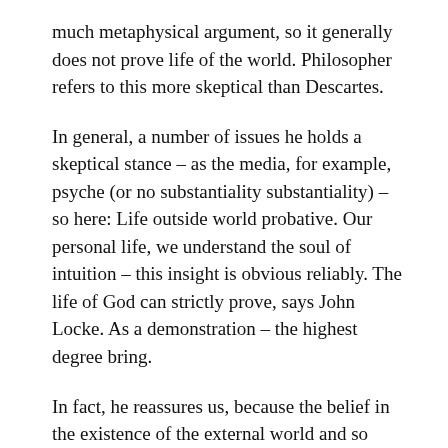much metaphysical argument, so it generally does not prove life of the world. Philosopher refers to this more skeptical than Descartes.
In general, a number of issues he holds a skeptical stance – as the media, for example, psyche (or no substantiality substantiality) – so here: Life outside world probative. Our personal life, we understand the soul of intuition – this insight is obvious reliably. The life of God can strictly prove, says John Locke. As a demonstration – the highest degree bring.
In fact, he reassures us, because the belief in the existence of the external world and so many strong, so much evidence is required. But in reality, says the philosopher, nothing will change. It seems paradoxical view. The main intention of John Locke – defining sources of ideas and knowledge types, types of probability that originate from the comparison, the connection or disconnection of certain ideas. When the idea of a philosopher as any object